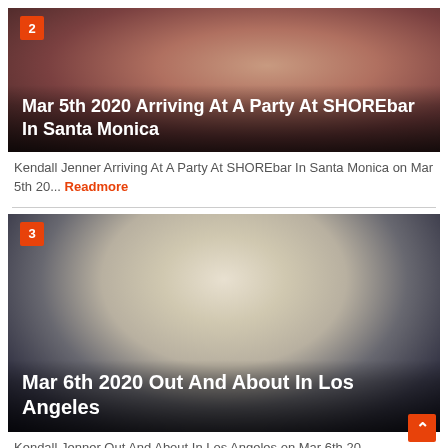[Figure (photo): Photo of people at a party, blurred/close-up, item #2]
Mar 5th 2020 Arriving At A Party At SHOREbar In Santa Monica
Kendall Jenner Arriving At A Party At SHOREbar In Santa Monica on Mar 5th 20... Readmore
[Figure (photo): Photo of a person in white shirt outdoors, blurred background, item #3]
Mar 6th 2020 Out And About In Los Angeles
Kendall Jenner Out And About In Los Angeles on Mar 6th 20... Readmore